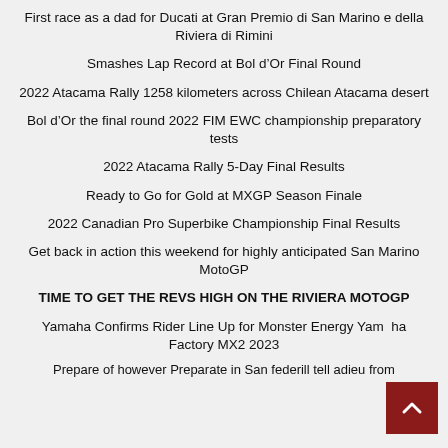First race as a dad for Ducati at Gran Premio di San Marino e della Riviera di Rimini
Smashes Lap Record at Bol d'Or Final Round
2022 Atacama Rally 1258 kilometers across Chilean Atacama desert
Bol d'Or the final round 2022 FIM EWC championship preparatory tests
2022 Atacama Rally 5-Day Final Results
Ready to Go for Gold at MXGP Season Finale
2022 Canadian Pro Superbike Championship Final Results
Get back in action this weekend for highly anticipated San Marino MotoGP
TIME TO GET THE REVS HIGH ON THE RIVIERA MOTOGP
Yamaha Confirms Rider Line Up for Monster Energy Yamaha Factory MX2 2023
Prepare of however Preparate in San federill tell adieu from...